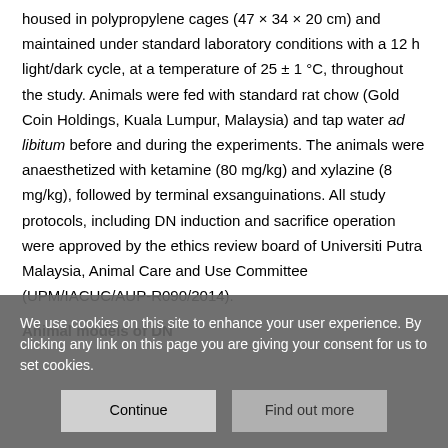housed in polypropylene cages (47 × 34 × 20 cm) and maintained under standard laboratory conditions with a 12 h light/dark cycle, at a temperature of 25 ± 1 °C, throughout the study. Animals were fed with standard rat chow (Gold Coin Holdings, Kuala Lumpur, Malaysia) and tap water ad libitum before and during the experiments. The animals were anaesthetized with ketamine (80 mg/kg) and xylazine (8 mg/kg), followed by terminal exsanguinations. All study protocols, including DN induction and sacrifice operation were approved by the ethics review board of Universiti Putra Malaysia, Animal Care and Use Committee (UPM/IACUC/AUP-R090/2014).
Animal models of DN
We use cookies on this site to enhance your user experience. By clicking any link on this page you are giving your consent for us to set cookies.